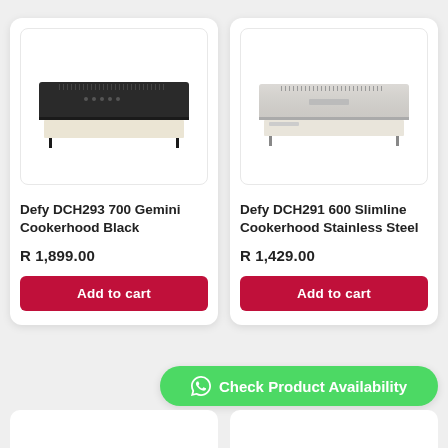[Figure (photo): Defy DCH293 700 Gemini Cookerhood Black product image - black under-cabinet range hood]
Defy DCH293 700 Gemini Cookerhood Black
R1,899.00
Add to cart
[Figure (photo): Defy DCH291 600 Slimline Cookerhood Stainless Steel product image - silver/stainless under-cabinet range hood]
Defy DCH291 600 Slimline Cookerhood Stainless Steel
R1,429.00
Add to cart
Check Product Availability